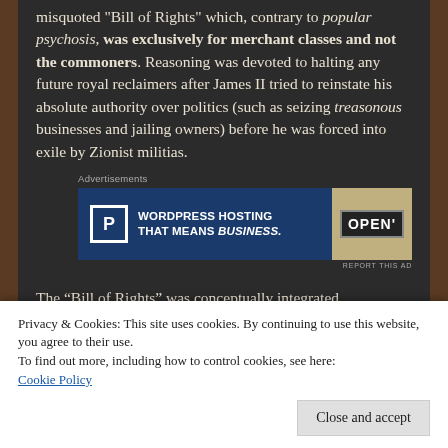misquoted "Bill of Rights" which, contrary to popular psychosis, was exclusively for merchant classes and not the commoners. Reasoning was devoted to halting any future royal reclaimers after James II tried to reinstate his absolute authority over politics (such as seizing treasonous businesses and jailing owners) before he was forced into exile by Zionist militias.
Advertisements
[Figure (other): Advertisement banner for WordPress Hosting with an OPEN sign image on the right side]
REPORT THIS AD
The “Bill of Rights” was conceptually integrated
Privacy & Cookies: This site uses cookies. By continuing to use this website, you agree to their use.
To find out more, including how to control cookies, see here:
Cookie Policy
Close and accept